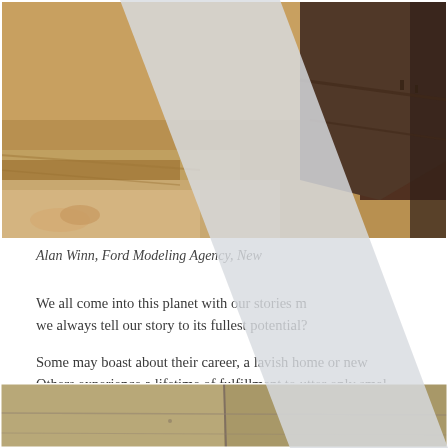[Figure (photo): Sepia-toned photograph of rocky/sandy archaeological or construction site, partially obscured by diagonal light gray band overlay]
Alan Winn, Ford Modeling Agency, New
We all come into this planet with our stories m... we always tell our story to its fullest potential?
Some may boast about their career, a lavish home or new Others experience a lifetime of fulfillment to utter only small ovations to their success. Enter Mr. Alan Winn, a soldier, a top m... model, a successful restaurateur, an art collector and a charming story-teller.
[Figure (photo): Partial view of another sepia/sandy-toned photograph at the bottom of the page]